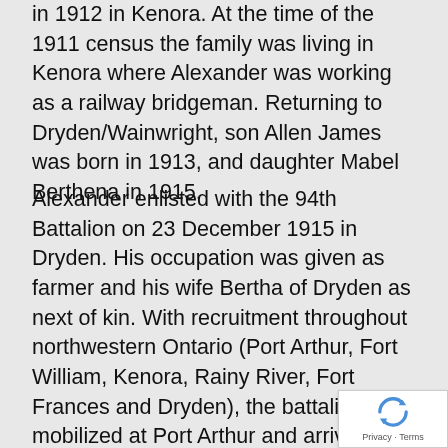in 1912 in Kenora. At the time of the 1911 census the family was living in Kenora where Alexander was working as a railway bridgeman. Returning to Dryden/Wainwright, son Allen James was born in 1913, and daughter Mabel Berthena in 1915.
Alexander enlisted with the 94th Battalion on 23 December 1915 in Dryden. His occupation was given as farmer and his wife Bertha of Dryden as next of kin. With recruitment throughout northwestern Ontario (Port Arthur, Fort William, Kenora, Rainy River, Fort Frances and Dryden), the battalion was mobilized at Port Arthur and arrived in England on 6 July 1916 aboard the Olympic. Upon arrival Alexander was taken on strength with the 32nd Reserve Battalion, briefly transferred to the 30th Battalion, and then back to the 32nd Reserve Battalion that September. However, suffering from acute rheumatism dating back to a bout of rheumatic fever 1898 in Dryden, it was decided that Alexander be returned